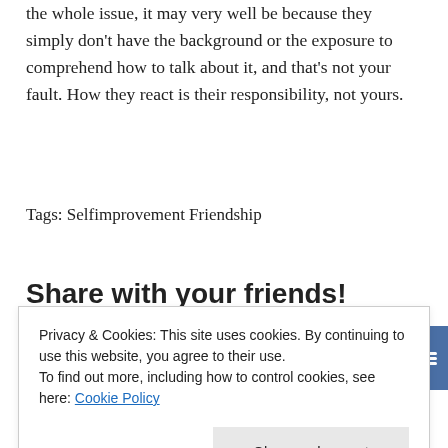the whole issue, it may very well be because they simply don't have the background or the exposure to comprehend how to talk about it, and that's not your fault. How they react is their responsibility, not yours.
Tags: Selfimprovement Friendship
Share with your friends!
[Figure (infographic): Social share buttons: Facebook (blue), Twitter (light blue), Pinterest (red), Reddit (orange-red), Tumblr (dark blue), Buffer (slate blue), Share (dark gray)]
Like this:
Privacy & Cookies: This site uses cookies. By continuing to use this website, you agree to their use. To find out more, including how to control cookies, see here: Cookie Policy
Close and accept